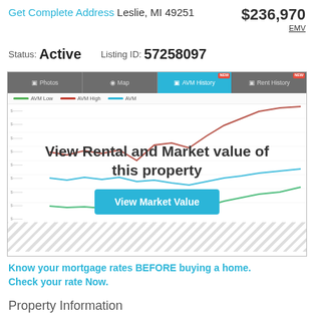Get Complete Address Leslie, MI 49251 $236,970 EMV
Status: Active    Listing ID: 57258097
[Figure (line-chart): Line chart showing AVM Low (green), AVM High (red), and AVM (blue) history over time, with overlay text 'View Rental and Market value of this property' and a 'View Market Value' button]
Know your mortgage rates BEFORE buying a home. Check your rate Now.
Property Information